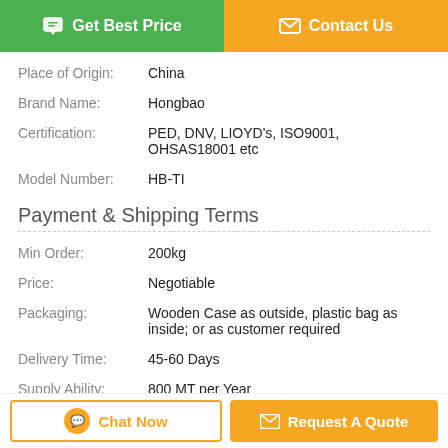[Figure (other): Two buttons: 'Get Best Price' (green) and 'Contact Us' (orange)]
Place of Origin: China
Brand Name: Hongbao
Certification: PED, DNV, LIOYD's, ISO9001, OHSAS18001 etc
Model Number: HB-TI
Payment & Shipping Terms
Min Order: 200kg
Price: Negotiable
Packaging: Wooden Case as outside, plastic bag as inside; or as customer required
Delivery Time: 45-60 Days
Supply Ability: 800 MT per Year
Description
[Figure (other): Two bottom action buttons: 'Chat Now' (outlined orange) and 'Request A Quote' (filled orange)]